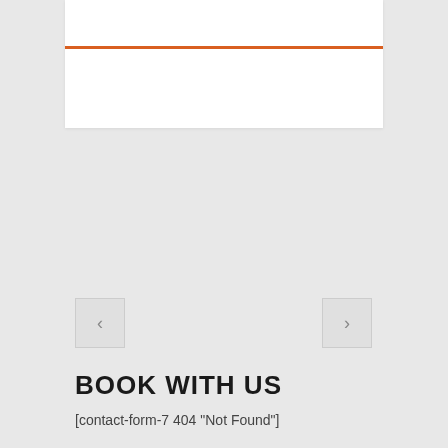[Figure (other): White card panel with an orange horizontal rule near the top]
[Figure (other): Left navigation arrow button (chevron left) in a square box]
[Figure (other): Right navigation arrow button (chevron right) in a square box]
BOOK WITH US
[contact-form-7 404 "Not Found"]